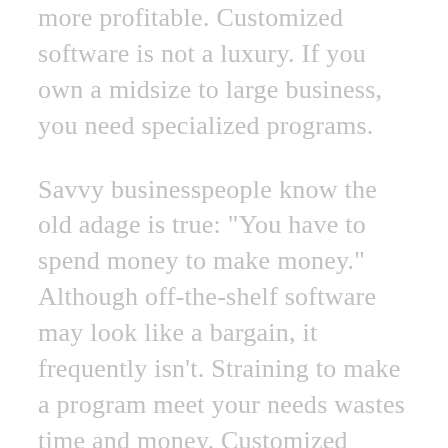more profitable. Customized software is not a luxury. If you own a midsize to large business, you need specialized programs.
Savvy businesspeople know the old adage is true: "You have to spend money to make money." Although off-the-shelf software may look like a bargain, it frequently isn't. Straining to make a program meet your needs wastes time and money. Customized software easily pays for itself by increasing productivity and reducing errors. It enhances customer and employee satisfaction while improving your profits. Not many other changes can spark such a big improvement in your business success.